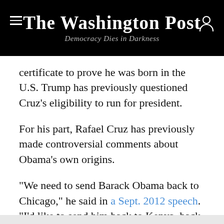The Washington Post — Democracy Dies in Darkness
certificate to prove he was born in the U.S. Trump has previously questioned Cruz's eligibility to run for president.
For his part, Rafael Cruz has previously made controversial comments about Obama's own origins.
“We need to send Barack Obama back to Chicago,” he said in a Sept. 2012 speech. “I’d like to send him back to Kenya, back to Indonesia!”